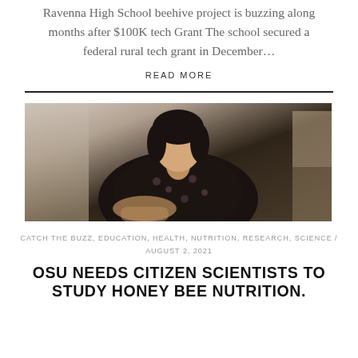Ravenna High School beehive project is buzzing along months after $100K tech Grant The school secured a federal rural tech grant in December…
READ MORE
[Figure (photo): A woman in a dark floral dress sitting at a table, looking down, appearing to work on something. The image is a close-up shot showing her from the torso up.]
CATCH THE BUZZ, EDUCATION, HEALTH, NUTRITION, RESEARCH, SCIENCE / AUGUST 2, 2021
OSU NEEDS CITIZEN SCIENTISTS TO STUDY HONEY BEE NUTRITION.